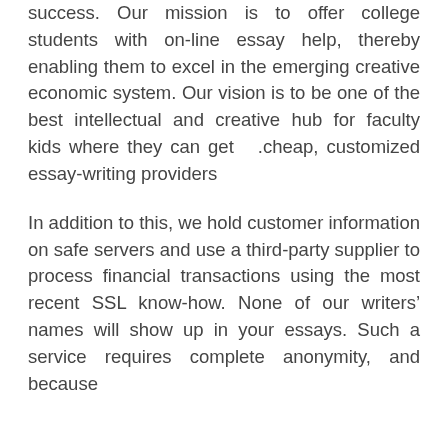success. Our mission is to offer college students with on-line essay help, thereby enabling them to excel in the emerging creative economic system. Our vision is to be one of the best intellectual and creative hub for faculty kids where they can get .cheap, customized essay-writing providers
In addition to this, we hold customer information on safe servers and use a third-party supplier to process financial transactions using the most recent SSL know-how. None of our writersâ names will show up in your essays. Such a service requires complete anonymity, and because